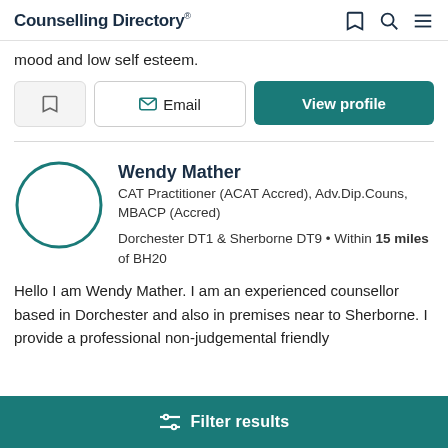Counselling Directory
mood and low self esteem.
Email | View profile
Wendy Mather
CAT Practitioner (ACAT Accred), Adv.Dip.Couns, MBACP (Accred)
Dorchester DT1 & Sherborne DT9 • Within 15 miles of BH20
Hello I am Wendy Mather. I am an experienced counsellor based in Dorchester and also in premises near to Sherborne. I provide a professional non-judgemental friendly
Filter results